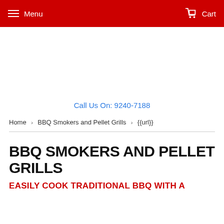Menu   Cart
Call Us On: 9240-7188
Home › BBQ Smokers and Pellet Grills › {{url}}
BBQ SMOKERS AND PELLET GRILLS
EASILY COOK TRADITIONAL BBQ WITH A